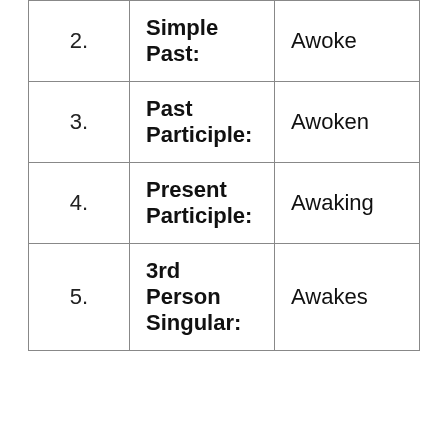| # | Form | Example |
| --- | --- | --- |
| 2. | Simple Past: | Awoke |
| 3. | Past Participle: | Awoken |
| 4. | Present Participle: | Awaking |
| 5. | 3rd Person Singular: | Awakes |